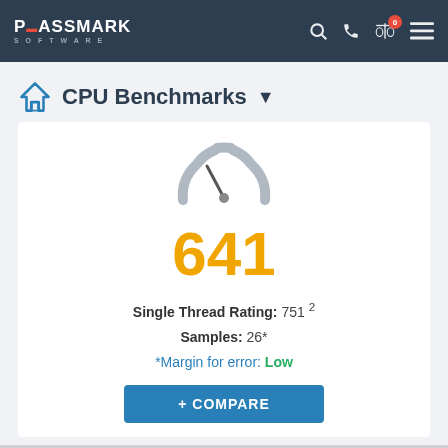PassMark Software — navigation bar with search, phone, compare (0), and menu icons
CPU Benchmarks
[Figure (other): Speedometer/gauge icon in gray]
641
Single Thread Rating: 751 2
Samples: 26*
*Margin for error: Low